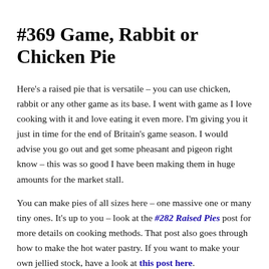#369 Game, Rabbit or Chicken Pie
Here's a raised pie that is versatile – you can use chicken, rabbit or any other game as its base. I went with game as I love cooking with it and love eating it even more. I'm giving you it just in time for the end of Britain's game season. I would advise you go out and get some pheasant and pigeon right know – this was so good I have been making them in huge amounts for the market stall.
You can make pies of all sizes here – one massive one or many tiny ones. It's up to you – look at the #282 Raised Pies post for more details on cooking methods. That post also goes through how to make the hot water pastry. If you want to make your own jellied stock, have a look at this post here.
For the filling, start by removing one pound of meat from the bones of your chosen game, rabbit or chicken and cut it into